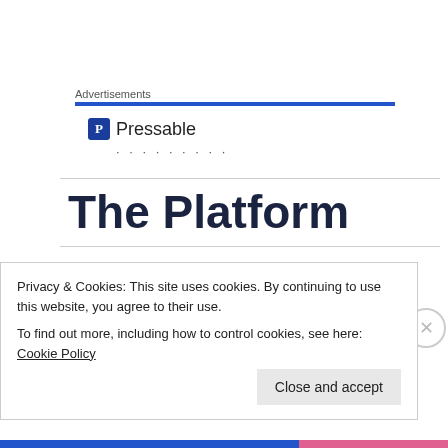Advertisements
[Figure (logo): Pressable logo with blue icon and dots below]
The Platform
Alinatan on December 27, 2013 at 8:33 AM
Why eye only win one award?:(why sned didn't
Privacy & Cookies: This site uses cookies. By continuing to use this website, you agree to their use.
To find out more, including how to control cookies, see here: Cookie Policy
Close and accept